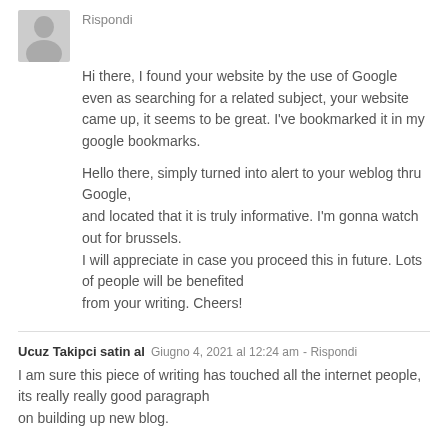[Figure (illustration): Gray silhouette avatar of a person]
Rispondi
Hi there, I found your website by the use of Google even as searching for a related subject, your website came up, it seems to be great. I've bookmarked it in my google bookmarks.
Hello there, simply turned into alert to your weblog thru Google,
and located that it is truly informative. I'm gonna watch out for brussels.
I will appreciate in case you proceed this in future. Lots of people will be benefited
from your writing. Cheers!
Ucuz Takipci satin al  Giugno 4, 2021 al 12:24 am - Rispondi
I am sure this piece of writing has touched all the internet people, its really really good paragraph
on building up new blog.
instagram Takipci Satın AL  Giugno 5, 2021 al 11:55 am -